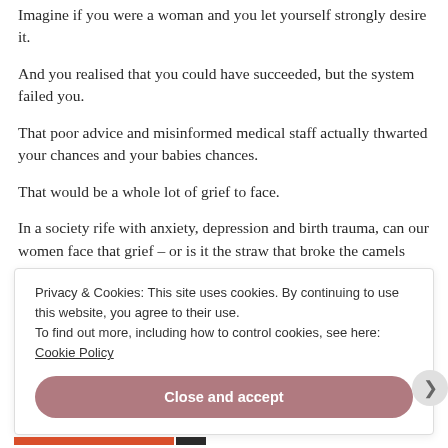Imagine if you were a woman and you let yourself strongly desire it.
And you realised that you could have succeeded, but the system failed you.
That poor advice and misinformed medical staff actually thwarted your chances and your babies chances.
That would be a whole lot of grief to face.
In a society rife with anxiety, depression and birth trauma, can our women face that grief – or is it the straw that broke the camels back?
Privacy & Cookies: This site uses cookies. By continuing to use this website, you agree to their use. To find out more, including how to control cookies, see here: Cookie Policy
Close and accept